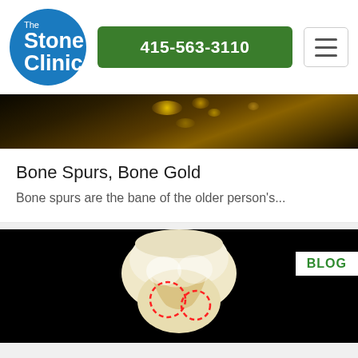[Figure (logo): The Stone Clinic circular blue logo with white text]
415-563-3110
Bone Spurs, Bone Gold
Bone spurs are the bane of the older person's...
[Figure (photo): Knee anatomy model on black background with red dashed circles indicating injury area, BLOG badge in upper right]